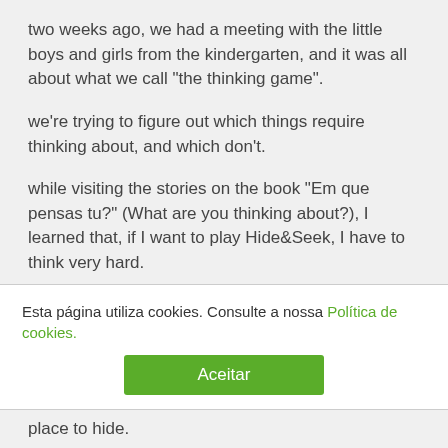two weeks ago, we had a meeting with the little boys and girls from the kindergarten, and it was all about what we call "the thinking game".
we're trying to figure out which things require thinking about, and which don't.
while visiting the stories on the book "Em que pensas tu?" (What are you thinking about?), I learned that, if I want to play Hide&Seek, I have to think very hard.
I asked "why?" and the answer was:
Esta página utiliza cookies. Consulte a nossa Política de cookies.
place to hide.